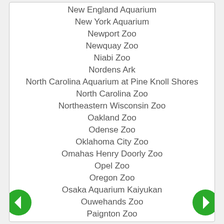New England Aquarium
New York Aquarium
Newport Zoo
Newquay Zoo
Niabi Zoo
Nordens Ark
North Carolina Aquarium at Pine Knoll Shores
North Carolina Zoo
Northeastern Wisconsin Zoo
Oakland Zoo
Odense Zoo
Oklahoma City Zoo
Omahas Henry Doorly Zoo
Opel Zoo
Oregon Zoo
Osaka Aquarium Kaiyukan
Ouwehands Zoo
Paignton Zoo
Palm Beach Zoo